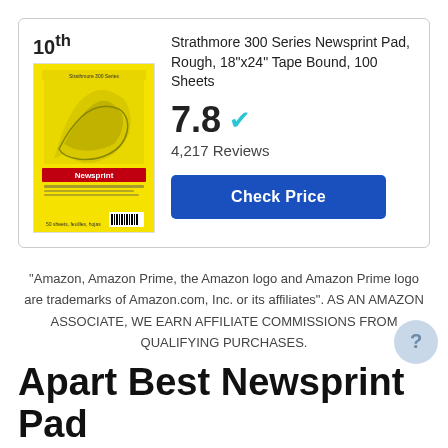10th
[Figure (photo): Strathmore Newsprint Pad product image with yellow cover]
Strathmore 300 Series Newsprint Pad, Rough, 18"x24" Tape Bound, 100 Sheets
7.8 ✔
4,217 Reviews
Check Price
"Amazon, Amazon Prime, the Amazon logo and Amazon Prime logo are trademarks of Amazon.com, Inc. or its affiliates". AS AN AMAZON ASSOCIATE, WE EARN AFFILIATE COMMISSIONS FROM QUALIFYING PURCHASES.
Apart Best Newsprint Pad